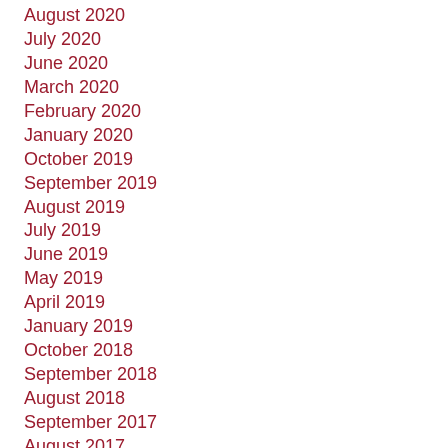August 2020
July 2020
June 2020
March 2020
February 2020
January 2020
October 2019
September 2019
August 2019
July 2019
June 2019
May 2019
April 2019
January 2019
October 2018
September 2018
August 2018
September 2017
August 2017